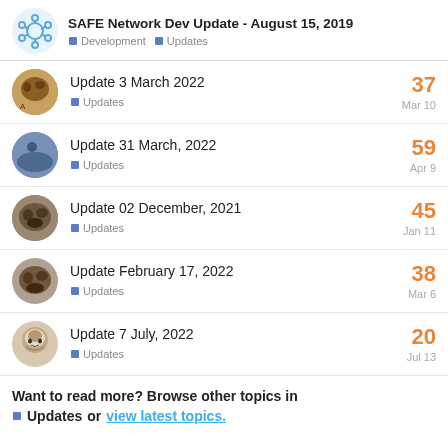SAFE Network Dev Update - August 15, 2019 | Development | Updates
Update 3 March 2022 — Updates — 37 — Mar 10
Update 31 March, 2022 — Updates — 59 — Apr 9
Update 02 December, 2021 — Updates — 45 — Jan 11
Update February 17, 2022 — Updates — 38 — Mar 6
Update 7 July, 2022 — Updates — 20 — Jul 13
Want to read more? Browse other topics in Updates or view latest topics.